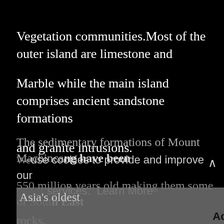Vegetation communities.Most of the outer island are limestone and
Marble while the main island comprises ancient sandstone formations
and granite intrusions.
The sedimentary formations of Mount Machincan ng have been We use cookies to provide and improve our services. Learn More 550 million years old,making them some of South East Asia's oldest rocks.